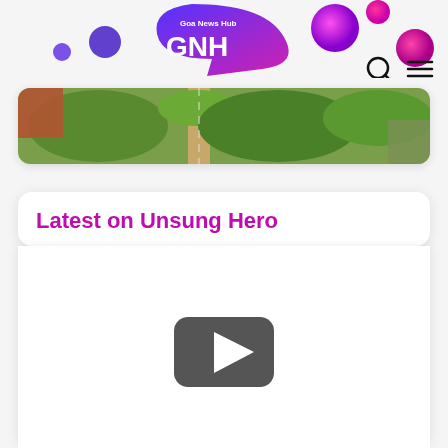[Figure (logo): Goa News Hub GNH logo with colorful decorative circles in blue, pink, purple on white background with search and menu icons]
[Figure (photo): Aerial drone photograph of a road with trees and buildings]
Latest on Unsung Hero
[Figure (screenshot): YouTube video embed placeholder with dark play button icon]